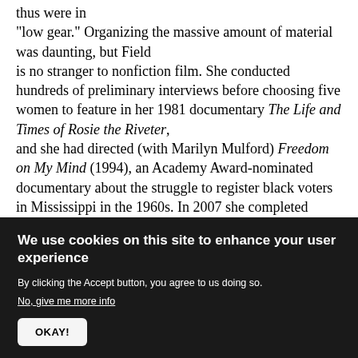thus were in "low gear." Organizing the massive amount of material was daunting, but Field is no stranger to nonfiction film. She conducted hundreds of preliminary interviews before choosing five women to feature in her 1981 documentary The Life and Times of Rosie the Riveter, and she had directed (with Marilyn Mulford) Freedom on My Mind (1994), an Academy Award-nominated documentary about the struggle to register black voters in Mississippi in the 1960s. In 2007 she completed ¡Salud!, a documentary about Cuba's role in working toward healthcare equity worldwide.
We use cookies on this site to enhance your user experience
By clicking the Accept button, you agree to us doing so.
No, give me more info
OKAY!